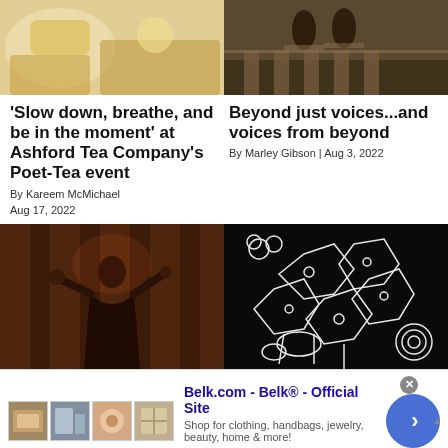[Figure (photo): Top left photo: close-up of a tea table setting with warm yellow tones, chairs and table visible]
[Figure (photo): Top right photo: people in formal attire standing in a church or auditorium with wooden pews]
'Slow down, breathe, and be in the moment' at Ashford Tea Company's Poet-Tea event
By Kareem McMichael
Aug 17, 2022
Beyond just voices...and voices from beyond
By Marley Gibson | Aug 3, 2022
[Figure (photo): Bottom left photo: performer on stage with arms outstretched against wooden backdrop]
[Figure (photo): Bottom right photo: black background with white line art illustration of tea bags and floral elements]
Belk.com - Belk® - Official Site
Shop for clothing, handbags, jewelry, beauty, home & more!
www.belk.com